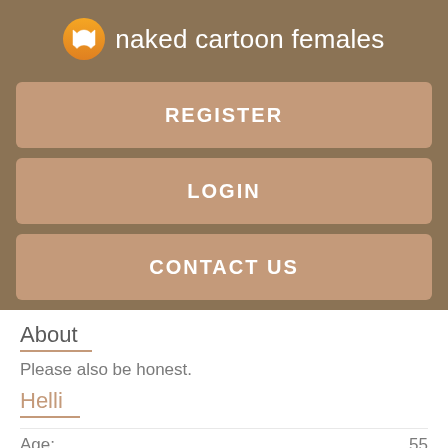naked cartoon females
REGISTER
LOGIN
CONTACT US
About
Please also be honest.
Helli
Age: 55
Relationship Status: Single